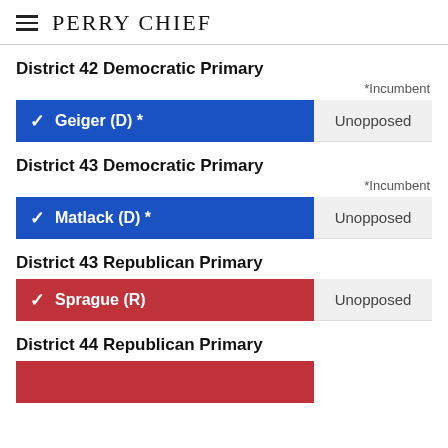PERRY CHIEF
District 42 Democratic Primary
*Incumbent
| Candidate | Result |
| --- | --- |
| Geiger (D) * | Unopposed |
District 43 Democratic Primary
*Incumbent
| Candidate | Result |
| --- | --- |
| Matlack (D) * | Unopposed |
District 43 Republican Primary
| Candidate | Result |
| --- | --- |
| Sprague (R) | Unopposed |
District 44 Republican Primary